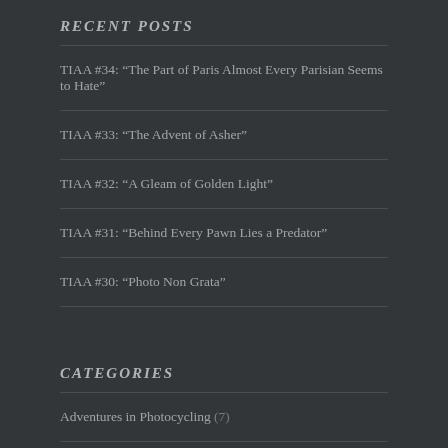RECENT POSTS
TIAA #34: “The Part of Paris Almost Every Parisian Seems to Hate”
TIAA #33: “The Advent of Asher”
TIAA #32: “A Gleam of Golden Light”
TIAA #31: “Behind Every Pawn Lies a Predator”
TIAA #30: “Photo Non Grata”
CATEGORIES
Adventures in Photocycling (7)
American Cities (31)